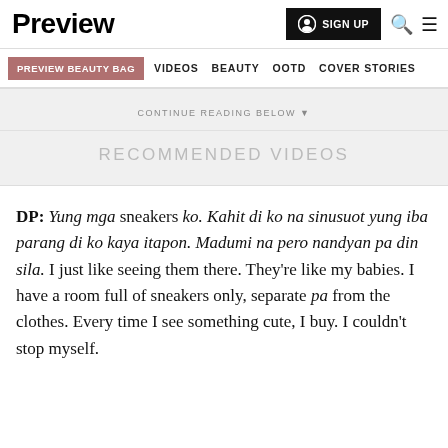Preview
SIGN UP
PREVIEW BEAUTY BAG   VIDEOS   BEAUTY   OOTD   COVER STORIES
CONTINUE READING BELOW ▼
RECOMMENDED VIDEOS
DP: Yung mga sneakers ko. Kahit di ko na sinusuot yung iba parang di ko kaya itapon. Madumi na pero nandyan pa din sila. I just like seeing them there. They're like my babies. I have a room full of sneakers only, separate pa from the clothes. Every time I see something cute, I buy. I couldn't stop myself.